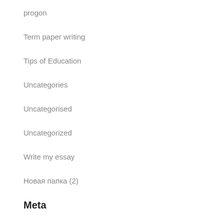progon
Term paper writing
Tips of Education
Uncategories
Uncategorised
Uncategorized
Write my essay
Новая папка (2)
Meta
Log in
Entries feed
Comments feed
WordPress.org